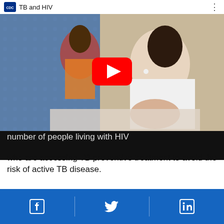[Figure (screenshot): YouTube video thumbnail showing two African women, one writing/taking notes in white coat, another sitting behind wearing colorful clothing. Video title shows 'TB and HIV'. A red YouTube play button is overlaid in the center.]
number of people living with HIV who are accessing TB preventive treatment to avoid the risk of active TB disease.
[Figure (other): Social media share bar with Facebook, Twitter, and LinkedIn icons on a blue background]